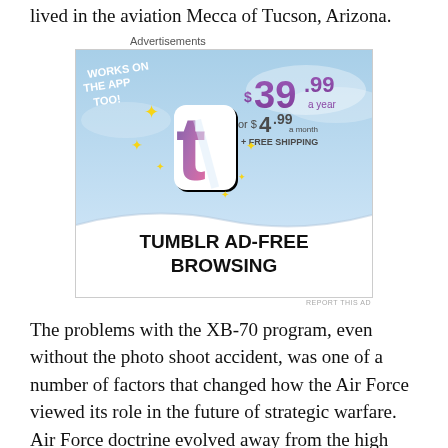lived in the aviation Mecca of Tucson, Arizona.
[Figure (photo): Tumblr Ad-Free Browsing advertisement featuring Tumblr logo with price $39.99 a year or $4.99 a month and text 'Works on the App Too!' and '+ FREE SHIPPING']
The problems with the XB-70 program, even without the photo shoot accident, was one of a number of factors that changed how the Air Force viewed its role in the future of strategic warfare. Air Force doctrine evolved away from the high and